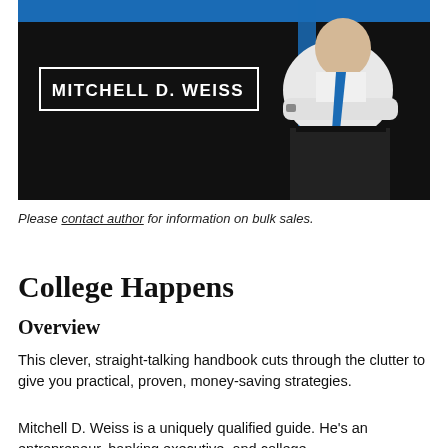[Figure (photo): Book cover banner with dark background, blue top stripe, author name 'MITCHELL D. WEISS' in white text box, and a man in white shirt with arms crossed on the right side]
Please contact author for information on bulk sales.
College Happens
Overview
This clever, straight-talking handbook cuts through the clutter to give you practical, proven, money-saving strategies.
Mitchell D. Weiss is a uniquely qualified guide. He's an entrepreneur, banking executive, and college